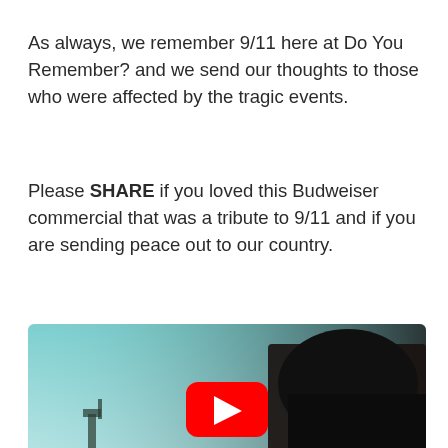As always, we remember 9/11 here at Do You Remember? and we send our thoughts to those who were affected by the tragic events.
Please SHARE if you loved this Budweiser commercial that was a tribute to 9/11 and if you are sending peace out to our country.
[Figure (screenshot): Video thumbnail showing a dark silhouette of a horse and rider against a teal/blue sky with the Statue of Liberty visible in the background. A red YouTube play button is centered on the image.]